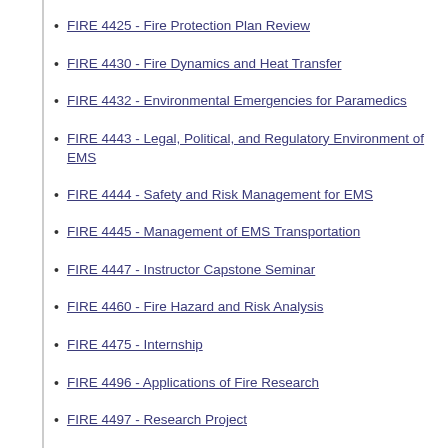FIRE 4425 - Fire Protection Plan Review
FIRE 4430 - Fire Dynamics and Heat Transfer
FIRE 4432 - Environmental Emergencies for Paramedics
FIRE 4443 - Legal, Political, and Regulatory Environment of EMS
FIRE 4444 - Safety and Risk Management for EMS
FIRE 4445 - Management of EMS Transportation
FIRE 4447 - Instructor Capstone Seminar
FIRE 4460 - Fire Hazard and Risk Analysis
FIRE 4475 - Internship
FIRE 4496 - Applications of Fire Research
FIRE 4497 - Research Project
FIRE 4498 - Research Project I